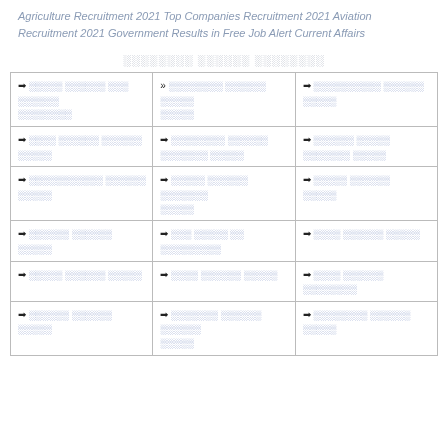Agriculture Recruitment 2021 Top Companies Recruitment 2021 Aviation Recruitment 2021 Government Results in Free Job Alert Current Affairs
░░░░░░░░ ░░░░░░ ░░░░░░░░
| ➡ ░░░░░ ░░░░░░ ░░░ ░░░░░░ ░░░░░░░░ | » ░░░░░░░░ ░░░░░░ ░░░░░ ░░░░░ | ➡ ░░░░░░░░░░ ░░░░░░ ░░░░░ |
| ➡ ░░░░ ░░░░░░ ░░░░░░ ░░░░░ | ➡ ░░░░░░░░ ░░░░░░ ░░░░░░░ ░░░░░ | ➡ ░░░░░░ ░░░░░ ░░░░░░░ ░░░░░ |
| ➡ ░░░░░░░░░░░ ░░░░░░ ░░░░░ | ➡ ░░░░░ ░░░░░░ ░░░░░░░ ░░░░░ | ➡ ░░░░░ ░░░░░░ ░░░░░ |
| ➡ ░░░░░░ ░░░░░░ ░░░░░ | ➡ ░░░ ░░░░░ ░░ ░░░░░░░░░ | ➡ ░░░░ ░░░░░░ ░░░░░ |
| ➡ ░░░░░ ░░░░░░ ░░░░░ | ➡ ░░░░ ░░░░░░ ░░░░░ | ➡ ░░░░ ░░░░░░ ░░░░░░░░ |
| ➡ ░░░░░░ ░░░░░░ ░░░░░ | ➡ ░░░░░░░ ░░░░░░ ░░░░░░ ░░░░░ | ➡ ░░░░░░░░ ░░░░░░ ░░░░░ |